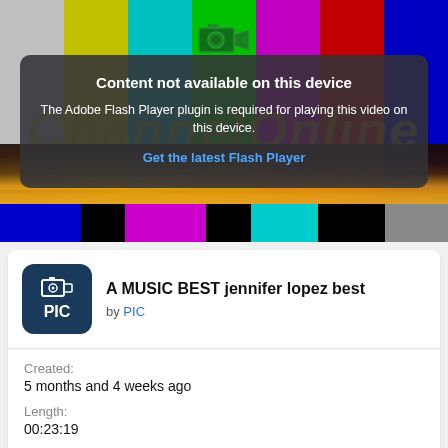[Figure (screenshot): Video player showing color test bars with an overlay message: 'Content not available on this device. The Adobe Flash Player plugin is required for playing this video on this device. Get the latest Flash Player']
A MUSIC BEST jennifer lopez best
by PIC
Created:
5 months and 4 weeks ago
Length:
00:23:19